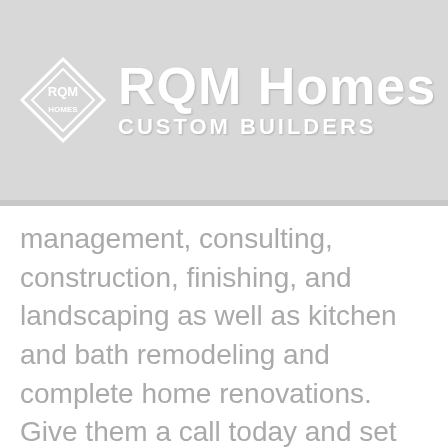[Figure (logo): RQM Homes Custom Builders logo with diamond-shaped emblem and white text on gray background]
management, consulting, construction, finishing, and landscaping as well as kitchen and bath remodeling and complete home renovations. Give them a call today and set up an appointment to talk about your next project.